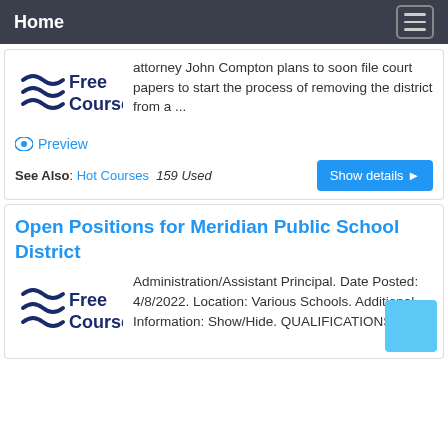Home
attorney John Compton plans to soon file court papers to start the process of removing the district from a ...
Preview
See Also: Hot Courses  159 Used
Open Positions for Meridian Public School District
Administration/Assistant Principal. Date Posted: 4/8/2022. Location: Various Schools. Additional Information: Show/Hide. QUALIFICATIONS: